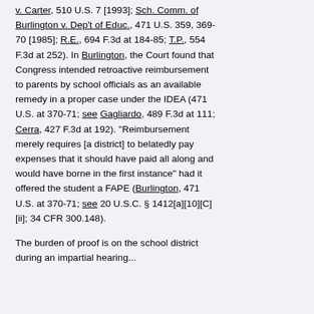v. Carter, 510 U.S. 7 [1993]; Sch. Comm. of Burlington v. Dep't of Educ., 471 U.S. 359, 369-70 [1985]; R.E., 694 F.3d at 184-85; T.P., 554 F.3d at 252). In Burlington, the Court found that Congress intended retroactive reimbursement to parents by school officials as an available remedy in a proper case under the IDEA (471 U.S. at 370-71; see Gagliardo, 489 F.3d at 111; Cerra, 427 F.3d at 192). "Reimbursement merely requires [a district] to belatedly pay expenses that it should have paid all along and would have borne in the first instance" had it offered the student a FAPE (Burlington, 471 U.S. at 370-71; see 20 U.S.C. § 1412[a][10][C][ii]; 34 CFR 300.148).
The burden of proof is on the school district during an impartial hearing...